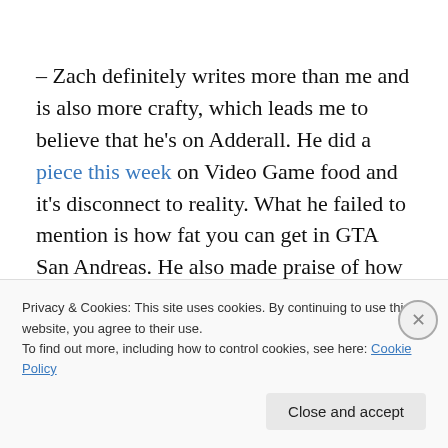– Zach definitely writes more than me and is also more crafty, which leads me to believe that he's on Adderall. He did a piece this week on Video Game food and it's disconnect to reality. What he failed to mention is how fat you can get in GTA San Andreas. He also made praise of how well video game characters eat, oblivious to Streets of Rage 2, in which you eat entire fucking Thanksgiving Turkeys for health. If I've been mercilessly beaten up and
Privacy & Cookies: This site uses cookies. By continuing to use this website, you agree to their use.
To find out more, including how to control cookies, see here: Cookie Policy